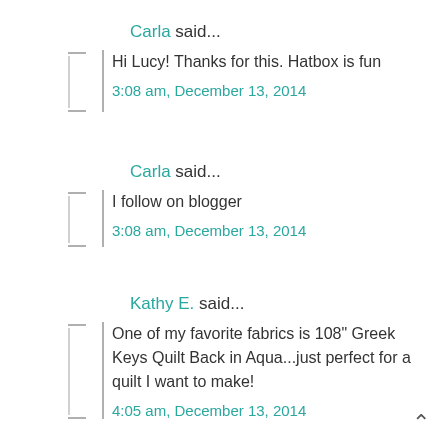Carla said...
Hi Lucy! Thanks for this. Hatbox is fun
3:08 am, December 13, 2014
Carla said...
I follow on blogger
3:08 am, December 13, 2014
Kathy E. said...
One of my favorite fabrics is 108" Greek Keys Quilt Back in Aqua...just perfect for a quilt I want to make!
4:05 am, December 13, 2014